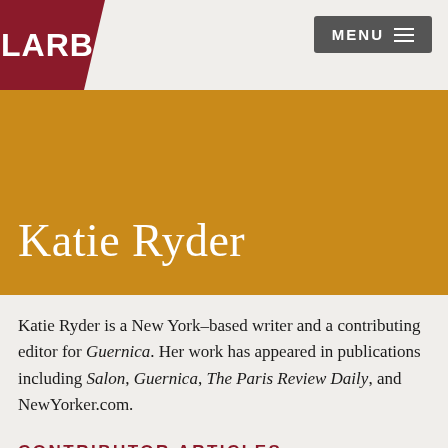LARB
MENU
Katie Ryder
Katie Ryder is a New York–based writer and a contributing editor for Guernica. Her work has appeared in publications including Salon, Guernica, The Paris Review Daily, and NewYorker.com.
CONTRIBUTOR ARTICLES